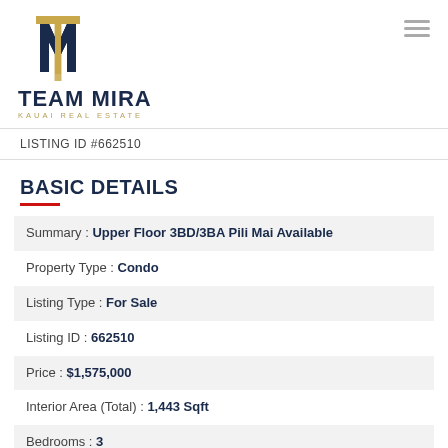[Figure (logo): Team Mira Kauai Real Estate logo with gold and navy blue 'M' monogram icon above bold navy text TEAM MIRA and gold subtitle KAUAI REAL ESTATE]
LISTING ID #662510
BASIC DETAILS
Summary : Upper Floor 3BD/3BA Pili Mai Available
Property Type : Condo
Listing Type : For Sale
Listing ID : 662510
Price : $1,575,000
Interior Area (Total) : 1,443 Sqft
Bedrooms : 3